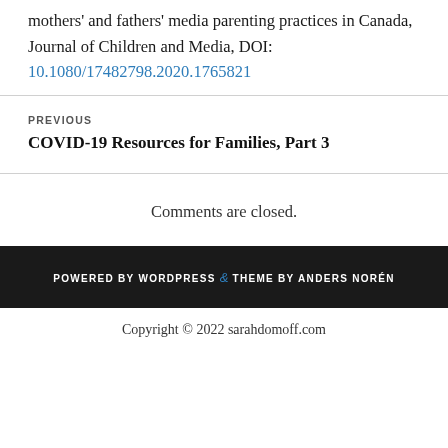mothers' and fathers' media parenting practices in Canada, Journal of Children and Media, DOI: 10.1080/17482798.2020.1765821
PREVIOUS
COVID-19 Resources for Families, Part 3
Comments are closed.
POWERED BY WORDPRESS & THEME BY ANDERS NORÉN
Copyright © 2022 sarahdomoff.com